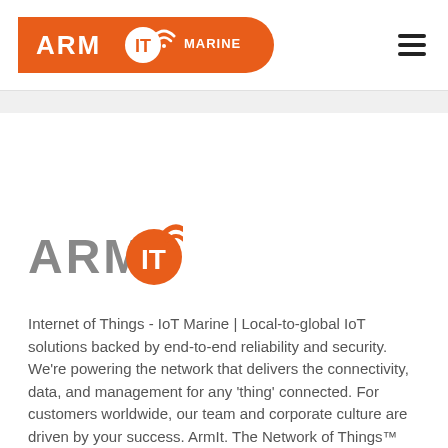[Figure (logo): ARM IT Marine logo on orange banner in page header]
[Figure (logo): ARM IT logo (grey text with orange circle and wifi signal arcs) in body content]
Internet of Things - IoT Marine | Local-to-global IoT solutions backed by end-to-end reliability and security. We're powering the network that delivers the connectivity, data, and management for any 'thing' connected. For customers worldwide, our team and corporate culture are driven by your success. ArmIt. The Network of Things™ www.armit.co